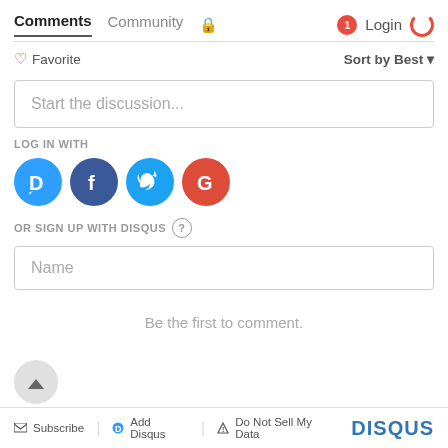Comments  Community  Login
♡ Favorite   Sort by Best ▾
Start the discussion...
LOG IN WITH
[Figure (logo): Social login icons: Disqus (blue), Facebook (dark blue), Twitter (light blue), Google (red)]
OR SIGN UP WITH DISQUS ?
Name
Be the first to comment.
Subscribe  Add Disqus  Do Not Sell My Data  DISQUS